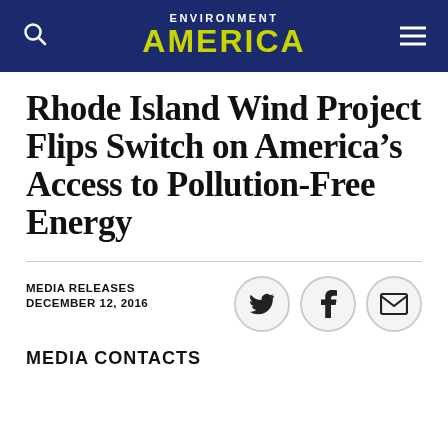ENVIRONMENT AMERICA
Rhode Island Wind Project Flips Switch on America's Access to Pollution-Free Energy
MEDIA RELEASES
DECEMBER 12, 2016
[Figure (infographic): Social share icons: Twitter bird, Facebook f, and email envelope, arranged in a row of circular buttons]
MEDIA CONTACTS